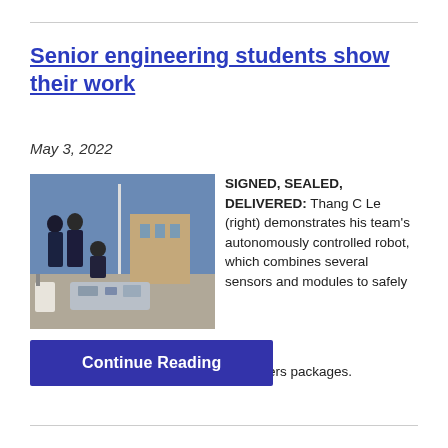Senior engineering students show their work
May 3, 2022
[Figure (photo): Students outdoors demonstrating an autonomously controlled robot; one person crouches over the robot device while others stand nearby.]
SIGNED, SEALED, DELIVERED: Thang C Le (right) demonstrates his team's autonomously controlled robot, which combines several sensors and modules to safely navigate buildings on campus as it delivers packages.
Continue Reading